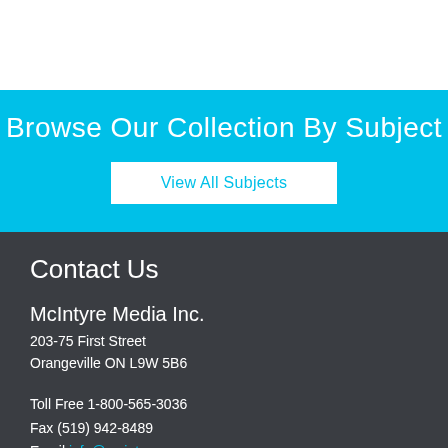Browse Our Collection By Subject
View All Subjects
Contact Us
McIntyre Media Inc.
203-75 First Street
Orangeville ON L9W 5B6
Toll Free 1-800-565-3036
Fax (519) 942-8489
Email info@mcintyre.ca